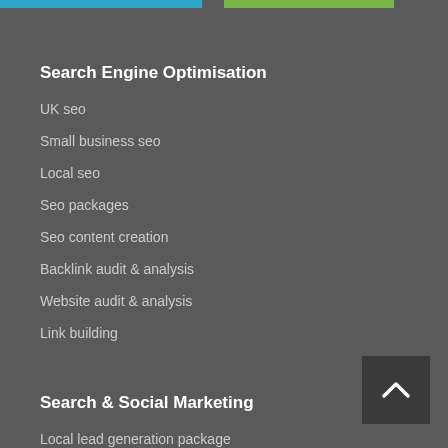Search Engine Optimisation
UK seo
Small business seo
Local seo
Seo packages
Seo content creation
Backlink audit & analysis
Website audit & analysis
Link building
Search & Social Marketing
Local lead generation package
Pay per click (ppc)
Small business ppc
Online strategy